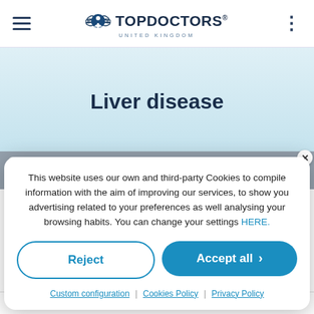TOP DOCTORS UNITED KINGDOM
Liver disease
Search by specialty or treatment
This website uses our own and third-party Cookies to compile information with the aim of improving our services, to show you advertising related to your preferences as well analysing your browsing habits. You can change your settings HERE.
Reject
Accept all
Custom configuration | Cookies Policy | Privacy Policy